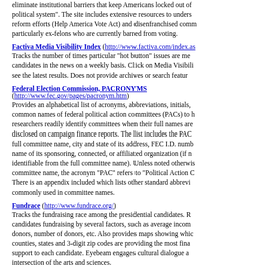eliminate institutional barriers that keep Americans locked out of the political system". The site includes extensive resources to understand reform efforts (Help America Vote Act) and disenfranchised communities, particularly ex-felons who are currently barred from voting.
Factiva Media Visibility Index (http://www.factiva.com/index.as) — Tracks the number of times particular "hot button" issues are mentioned and candidates in the news on a weekly basis. Click on Media Visibility to see the latest results. Does not provide archives or search features.
Federal Election Commission, PACRONYMS (http://www.fec.gov/pages/pacronym.htm) — Provides an alphabetical list of acronyms, abbreviations, initials, and common names of federal political action committees (PACs) to help researchers readily identify committees when their full names are not disclosed on campaign finance reports. The list includes the PAC's full committee name, city and state of its address, FEC I.D. number, name of its sponsoring, connected, or affiliated organization (if not identifiable from the full committee name). Unless noted otherwise in committee name, the acronym "PAC" refers to "Political Action C...". There is an appendix included which lists other standard abbreviations commonly used in committee names.
Fundrace (http://www.fundrace.org/) — Tracks the fundraising race among the presidential candidates. Ranks candidates fundraising by several factors, such as average income of donors, number of donors, etc. Also provides maps showing which counties, states and 3-digit zip codes are providing the most financial support to each candidate. Eyebeam engages cultural dialogue at the intersection of the arts and sciences.
Independent Progressive Politics Network, Democracy 2004 (http://www.democracy2004.org/mobilization.html) — This site aims to pull together a comprehensive map of the major initiatives, strategies, resources and tools that are being utilized by progressive communities and movements in a variety of areas. Provides useful list of links to issue and democracy reform campaigns for the elections, particularly groups that are working to get out the vote.